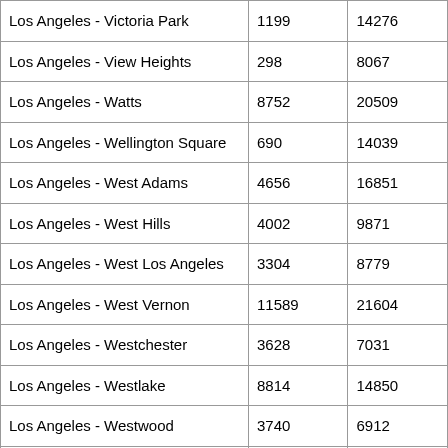| Los Angeles - Victoria Park | 1199 | 14276 |
| Los Angeles - View Heights | 298 | 8067 |
| Los Angeles - Watts | 8752 | 20509 |
| Los Angeles - Wellington Square | 690 | 14039 |
| Los Angeles - West Adams | 4656 | 16851 |
| Los Angeles - West Hills | 4002 | 9871 |
| Los Angeles - West Los Angeles | 3304 | 8779 |
| Los Angeles - West Vernon | 11589 | 21604 |
| Los Angeles - Westchester | 3628 | 7031 |
| Los Angeles - Westlake | 8814 | 14850 |
| Los Angeles - Westwood | 3740 | 6912 |